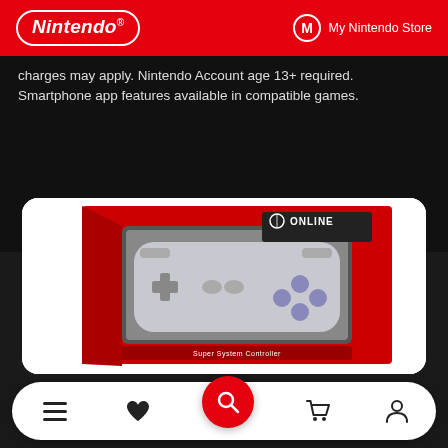Nintendo | My Nintendo Store
charges may apply. Nintendo Account age 13+ required. Smartphone app features available in compatible games.
[Figure (photo): Nintendo Switch Online Super Nintendo Entertainment System (SNES) controller in red retail packaging with a window showing the grey SNES-style wireless controller inside. The box shows 'ONLINE' branding and 'Super System Controller' text at the bottom.]
Navigation bar with menu, favorites, search, cart, and account icons